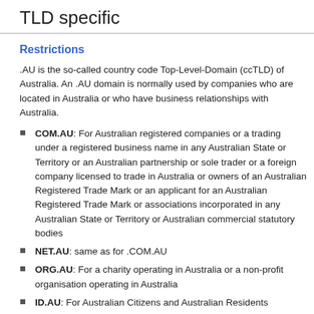TLD specific
Restrictions
.AU is the so-called country code Top-Level-Domain (ccTLD) of Australia. An .AU domain is normally used by companies who are located in Australia or who have business relationships with Australia.
COM.AU: For Australian registered companies or a trading under a registered business name in any Australian State or Territory or an Australian partnership or sole trader or a foreign company licensed to trade in Australia or owners of an Australian Registered Trade Mark or an applicant for an Australian Registered Trade Mark or associations incorporated in any Australian State or Territory or Australian commercial statutory bodies
NET.AU: same as for .COM.AU
ORG.AU: For a charity operating in Australia or a non-profit organisation operating in Australia
ID.AU: For Australian Citizens and Australian Residents
Special parameters